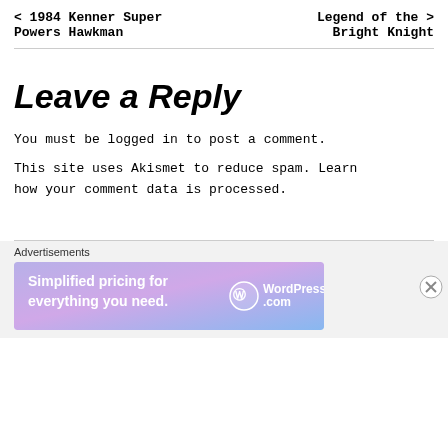< 1984 Kenner Super Powers Hawkman    Legend of the > Bright Knight
Leave a Reply
You must be logged in to post a comment.
This site uses Akismet to reduce spam. Learn how your comment data is processed.
[Figure (infographic): WordPress.com advertisement banner with text 'Simplified pricing for everything you need.' and WordPress.com logo on a purple/blue gradient background]
Advertisements